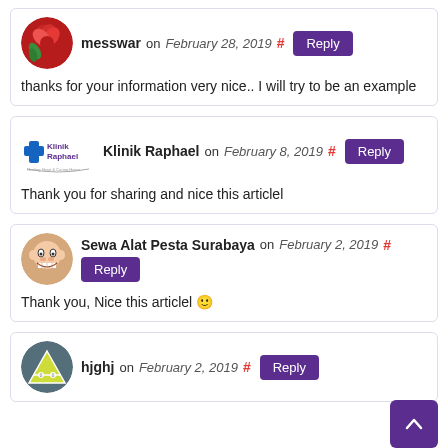messwar on February 28, 2019 # Reply
thanks for your information very nice.. I will try to be an example
Klinik Raphael on February 8, 2019 # Reply
Thank you for sharing and nice this articlel
Sewa Alat Pesta Surabaya on February 2, 2019 # Reply
Thank you, Nice this articlel 🙂
hjghj on February 2, 2019 # Reply